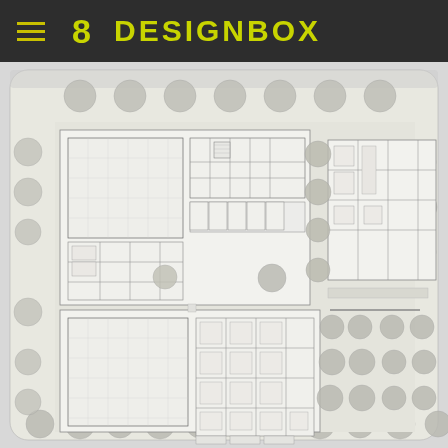8 DESIGNBOX
[Figure (engineering-diagram): Architectural site plan / floor plan drawing showing building layouts with rooms, corridors, and surrounding landscape with trees and parking areas, rendered in black and white/grayscale.]